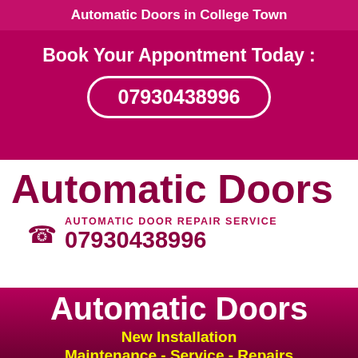Automatic Doors in College Town
Book Your Appontment Today :
07930438996
Automatic Doors
AUTOMATIC DOOR REPAIR SERVICE
07930438996
Automatic Doors
New Installation
Maintenance - Service - Repairs